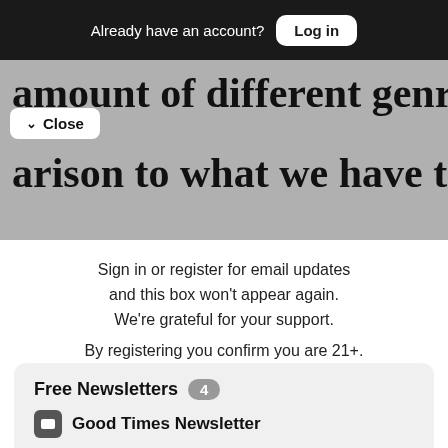Already have an account? Log in
amount of different genres in
arison to what we have today
Close
Sign in or register for email updates and this box won't appear again. We're grateful for your support.
By registering you confirm you are 21+.
Free Newsletters 4
Good Times Newsletter